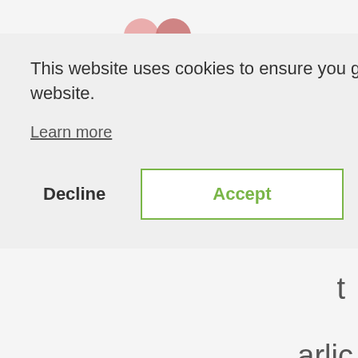[Figure (screenshot): Cookie consent modal overlay on a website. The modal has a light gray background with a close (×) button top right. It contains text 'This website uses cookies to ensure you get the best experience on our website.' with a 'Learn more' underlined link, and two buttons: 'Decline' (plain text) and 'Accept' (green outlined button). Behind the modal, partial page content is visible including a search icon, partial letters 'e', 't', 'arlic', 'ind;', and body text beginning with 'however, some of Walmart's Great Value varieties of mustard (including yellow, Dijon, and stone ground) do not contain garlic or onion (at least the ones distributed in Canada), nor is the ominous ingredient "Spices" listed on']